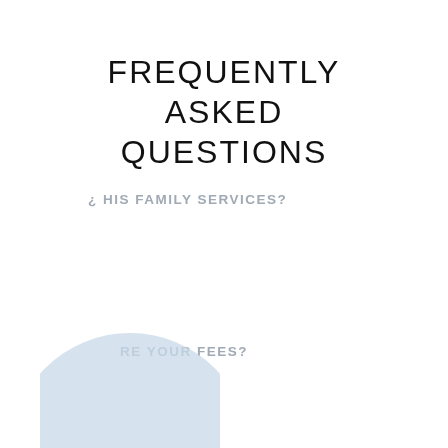FREQUENTLY ASKED QUESTIONS
¿ HIS FAMILY SERVICES?
RE YOUR FEES?
[Figure (illustration): Light blue partial circle decorative element in lower left corner]